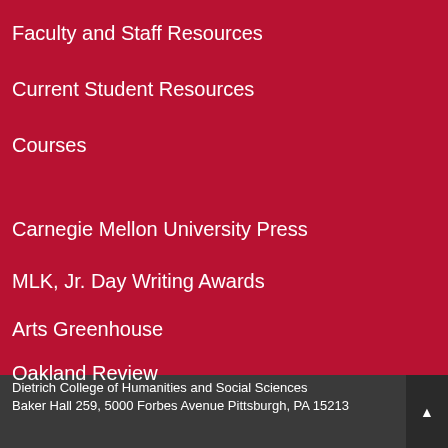Faculty and Staff Resources
Current Student Resources
Courses
Carnegie Mellon University Press
MLK, Jr. Day Writing Awards
Arts Greenhouse
Oakland Review
Dietrich College of Humanities and Social Sciences
Baker Hall 259, 5000 Forbes Avenue Pittsburgh, PA 15213